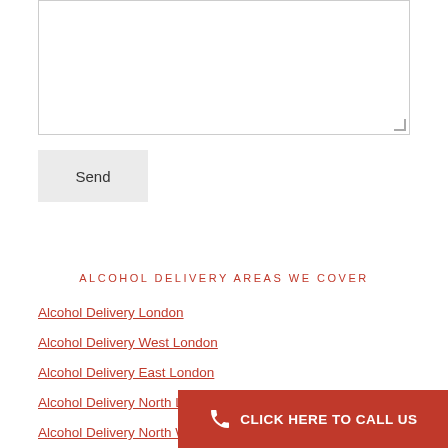[Figure (other): A text area input box (empty form field) with a resize handle at bottom-right]
Send
ALCOHOL DELIVERY AREAS WE COVER
Alcohol Delivery London
Alcohol Delivery West London
Alcohol Delivery East London
Alcohol Delivery North London
Alcohol Delivery North West London
CLICK HERE TO CALL US